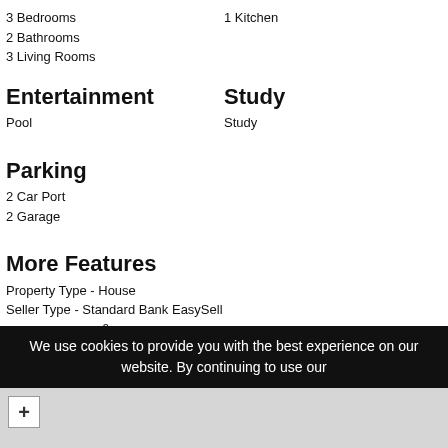3 Bedrooms
1 Kitchen
2 Bathrooms
3 Living Rooms
Entertainment
Study
Pool
Study
Parking
2 Car Port
2 Garage
More Features
Property Type - House
Seller Type - Standard Bank EasySell
Erf Size - 1050m²
Price per square erf meter - R1,667 per m²
We use cookies to provide you with the best experience on our website. By continuing to use our